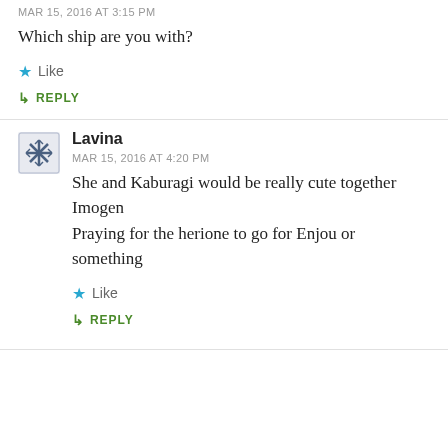MAR 15, 2016 AT 3:15 PM
Which ship are you with?
Like
REPLY
Lavina
MAR 15, 2016 AT 4:20 PM
She and Kaburagi would be really cute together Imogen
Praying for the herione to go for Enjou or something
Like
REPLY